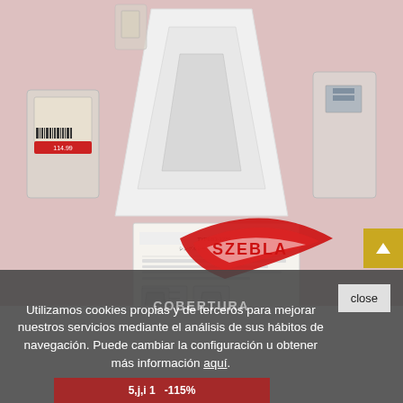[Figure (photo): Product photo showing a white plastic panel/cover (likely a motorcycle or automotive part), displayed on a pink surface alongside small hardware bags (screws/brackets in clear plastic bags) and a Japanese instruction sheet with diagrams. A red SZEBLA brand logo watermark is overlaid on the lower portion of the image.]
Utilizamos cookies propias y de terceros para mejorar nuestros servicios mediante el análisis de sus hábitos de navegación. Puede cambiar la configuración u obtener más información aquí.